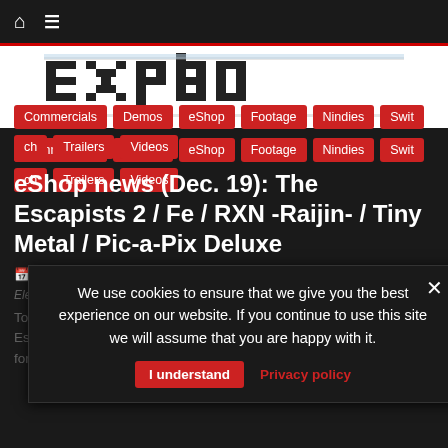Navigation bar with home icon and menu icon
[Figure (logo): eShop website logo with pixelated text on white background]
Commercials
Demos
eShop
Footage
Nindies
Switch
Trailers
Videos
eShop news (Dec. 19): The Escapists 2 / Fe / RXN -Raijin- / Tiny Metal / Pic-a-Pix Deluxe
19 December 2017  Lite_Agent  0 Comments  Area35, Electronic Arts, Fe, Guili, Kayac, Mouldy Toof, RNX -Raijin, Team17
We use cookies to ensure that we give you the best experience on our website. If you continue to use this site we will assume that you are happy with it.
Today's Nintendo eShop news: Release date and trailer for The Escapists 2 on Nintendo Switch, developer interview for Fe, footage for RNX -Raijin-, commercial for Tiny Metal